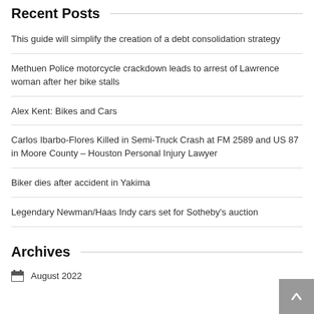Recent Posts
This guide will simplify the creation of a debt consolidation strategy
Methuen Police motorcycle crackdown leads to arrest of Lawrence woman after her bike stalls
Alex Kent: Bikes and Cars
Carlos Ibarbo-Flores Killed in Semi-Truck Crash at FM 2589 and US 87 in Moore County – Houston Personal Injury Lawyer
Biker dies after accident in Yakima
Legendary Newman/Haas Indy cars set for Sotheby's auction
Archives
August 2022